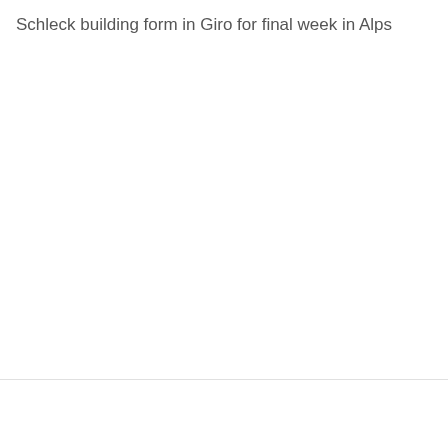Schleck building form in Giro for final week in Alps